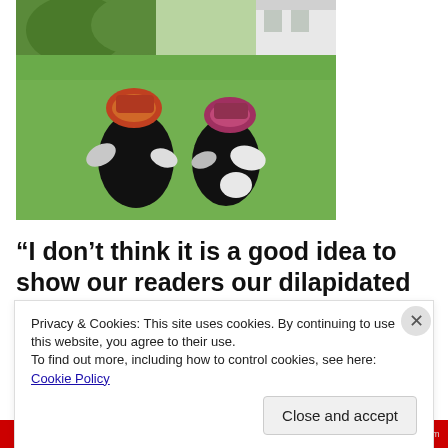[Figure (photo): Two stuffed animal toys dressed in colorful hats and black outfits posed on a green lawn, with trees and a white building visible in the background.]
“I don’t think it is a good idea to show our readers our dilapidated realm” said Snotty Nosed Prince to his father
Privacy & Cookies: This site uses cookies. By continuing to use this website, you agree to their use.
To find out more, including how to control cookies, see here: Cookie Policy
Close and accept